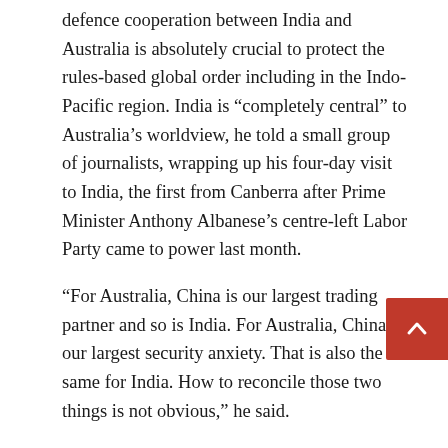defence cooperation between India and Australia is absolutely crucial to protect the rules-based global order including in the Indo-Pacific region. India is “completely central” to Australia’s worldview, he told a small group of journalists, wrapping up his four-day visit to India, the first from Canberra after Prime Minister Anthony Albanese’s centre-left Labor Party came to power last month.
“For Australia, China is our largest trading partner and so is India. For Australia, China is our largest security anxiety. That is also the same for India. How to reconcile those two things is not obvious,” he said.
“Our anxiety is that when you look at the Chinese behaviour, be it in the Line of Actual Control (LAC), be it in the South China Sea — what you are seeing is an assertive behaviour which seeks to challenge the established rules-based order which has been so important to the prosperity of the region,” he added.